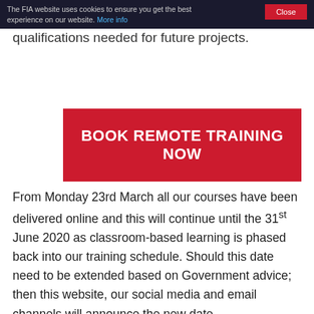The FIA website uses cookies to ensure you get the best experience on our website. More info | Close
qualifications needed for future projects.
[Figure (other): Red call-to-action button reading BOOK REMOTE TRAINING NOW]
From Monday 23rd March all our courses have been delivered online and this will continue until the 31st June 2020 as classroom-based learning is phased back into our training schedule. Should this date need to be extended based on Government advice; then this website, our social media and email channels will announce the new date.